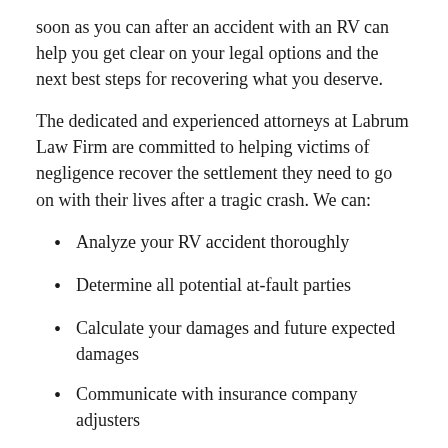soon as you can after an accident with an RV can help you get clear on your legal options and the next best steps for recovering what you deserve.
The dedicated and experienced attorneys at Labrum Law Firm are committed to helping victims of negligence recover the settlement they need to go on with their lives after a tragic crash. We can:
Analyze your RV accident thoroughly
Determine all potential at-fault parties
Calculate your damages and future expected damages
Communicate with insurance company adjusters
Fight for a fair out-of-court settlement
Represent you aggressively at trial
Call Labrum Law Firm today and take advantage of a